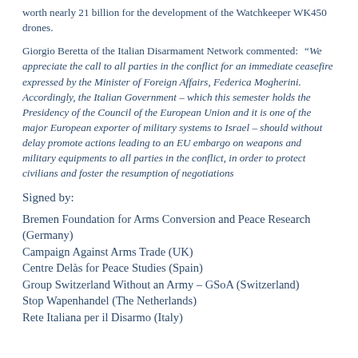worth nearly 21 billion for the development of the Watchkeeper WK450 drones.
Giorgio Beretta of the Italian Disarmament Network commented: “We appreciate the call to all parties in the conflict for an immediate ceasefire expressed by the Minister of Foreign Affairs, Federica Mogherini. Accordingly, the Italian Government – which this semester holds the Presidency of the Council of the European Union and it is one of the major European exporter of military systems to Israel – should without delay promote actions leading to an EU embargo on weapons and military equipments to all parties in the conflict, in order to protect civilians and foster the resumption of negotiations
Signed by:
Bremen Foundation for Arms Conversion and Peace Research (Germany)
Campaign Against Arms Trade (UK)
Centre Delàs for Peace Studies (Spain)
Group Switzerland Without an Army – GSoA (Switzerland)
Stop Wapenhandel (The Netherlands)
Rete Italiana per il Disarmo (Italy)